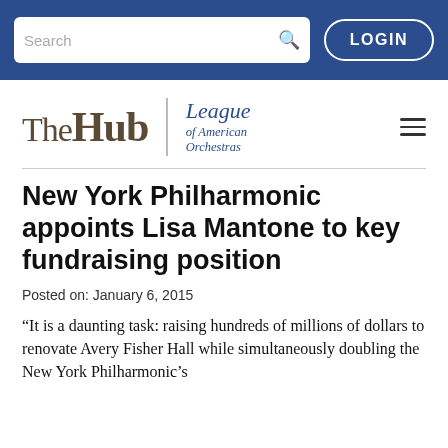Search | LOGIN
[Figure (logo): The Hub | League of American Orchestras logo with hamburger menu icon]
New York Philharmonic appoints Lisa Mantone to key fundraising position
Posted on: January 6, 2015
“It is a daunting task: raising hundreds of millions of dollars to renovate Avery Fisher Hall while simultaneously doubling the New York Philharmonic’s